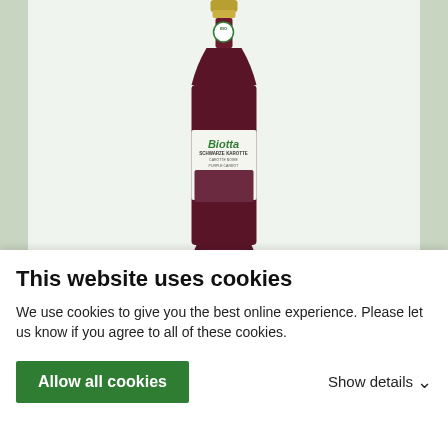[Figure (photo): A bottle of Biotta Schwarze Karotte (Purple Carrot) organic juice, 500ml, with a gold cap and a label showing 'Biotta SCHWARZE KAROTTE CAROTTE NOIRE PURPLE CARROT' with an image of purple carrots and a BIO certification seal.]
500ml
Mild and almost sweet, Biotta's vibrant Purple Carrot
This website uses cookies
We use cookies to give you the best online experience. Please let us know if you agree to all of these cookies.
Allow all cookies
Show details